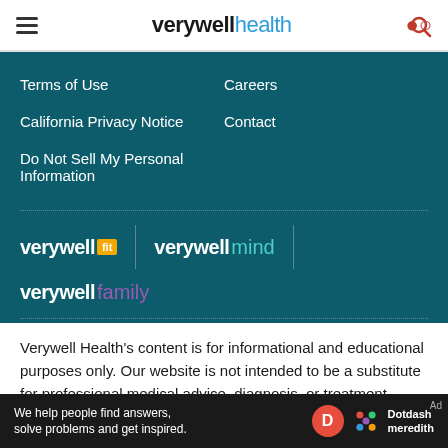verywell health
Terms of Use
Careers
California Privacy Notice
Contact
Do Not Sell My Personal Information
[Figure (logo): verywell fit logo with yellow badge]
[Figure (logo): verywell mind logo with teal text]
[Figure (logo): verywell family logo with purple text]
Verywell Health's content is for informational and educational purposes only. Our website is not intended to be a substitute for professional medical advice, diagnosis, or treatment.
[Figure (infographic): Dotdash Meredith ad banner: We help people find answers, solve problems and get inspired.]